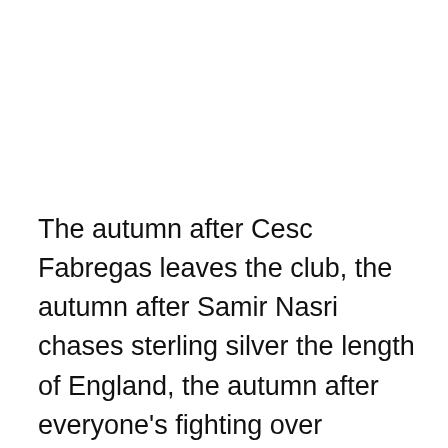The autumn after Cesc Fabregas leaves the club, the autumn after Samir Nasri chases sterling silver the length of England, the autumn after everyone's fighting over whether Jack Wilshere should play for England, the England U-21s, Arsenal, Earth, and his local council five-a-side team, this happens. Some kind of mysterious injury that specialists cannot seem to identify besides it being "an ankle problem", while Thomas Vermaelen misses most of a year without a clue as to what's happening (oh, he's still out too, by